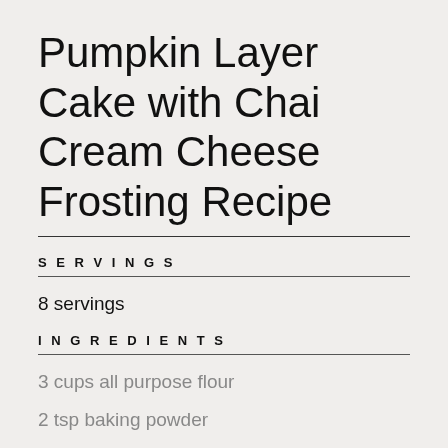Pumpkin Layer Cake with Chai Cream Cheese Frosting Recipe
SERVINGS
8 servings
INGREDIENTS
3 cups all purpose flour
2 tsp baking powder
1 tsp kosher salt